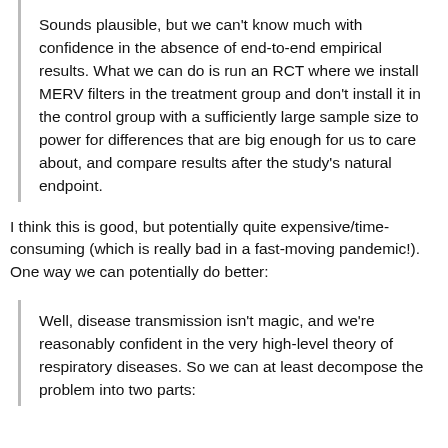Sounds plausible, but we can't know much with confidence in the absence of end-to-end empirical results. What we can do is run an RCT where we install MERV filters in the treatment group and don't install it in the control group with a sufficiently large sample size to power for differences that are big enough for us to care about, and compare results after the study's natural endpoint.
I think this is good, but potentially quite expensive/time-consuming (which is really bad in a fast-moving pandemic!). One way we can potentially do better:
Well, disease transmission isn't magic, and we're reasonably confident in the very high-level theory of respiratory diseases. So we can at least decompose the problem into two parts: